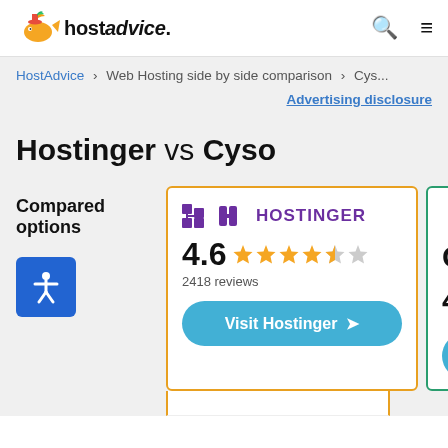hostadvice.
HostAdvice > Web Hosting side by side comparison > Cys...
Advertising disclosure
Hostinger vs Cyso
Compared options
|  | HOSTINGER | C... |
| --- | --- | --- |
|  | 4.6 ★★★★½ 2418 reviews | 4... |
|  | Visit Hostinger → |  |